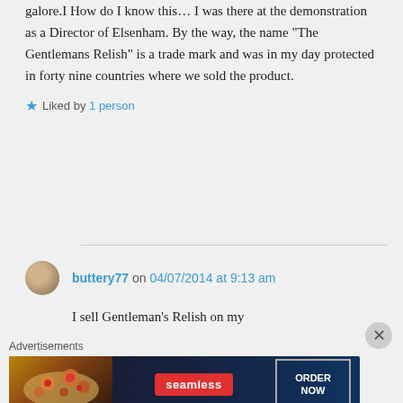galore.I How do I know this… I was there at the demonstration as a Director of Elsenham. By the way, the name “The Gentlemans Relish” is a trade mark and was in my day protected in forty nine countries where we sold the product.
Liked by 1 person
buttery77 on 04/07/2014 at 9:13 am
I sell Gentleman’s Relish on my
Advertisements
[Figure (photo): Seamless pizza advertisement banner with 'ORDER NOW' text]